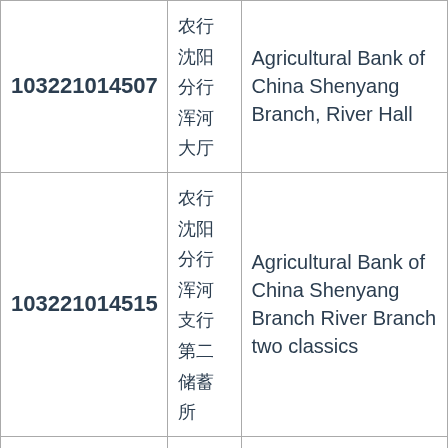| 103221014507 | 农行
沈阳
分行
浑河
大厅 | Agricultural Bank of China Shenyang Branch, River Hall |
| 103221014515 | 农行
沈阳
分行
浑河
支行
第二
储蓄
所 | Agricultural Bank of China Shenyang Branch River Branch two classics |
|  | 农行
沈阳
分行 |  |